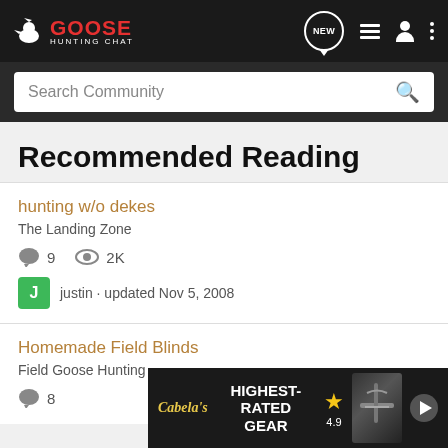GOOSE HUNTING CHAT — navigation bar with logo, NEW button, list icon, user icon, more icon
Search Community
Recommended Reading
hunting w/o dekes
The Landing Zone
9 comments · 2K views
justin · updated Nov 5, 2008
Homemade Field Blinds
Field Goose Hunting
8 comments
[Figure (screenshot): Cabela's advertisement banner: HIGHEST-RATED GEAR with star rating 4.9 and play button]